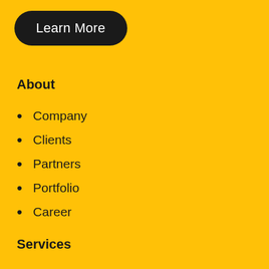[Figure (other): Black rounded rectangle button with white text 'Learn More']
About
Company
Clients
Partners
Portfolio
Career
Services
Web Design
Development
SEO